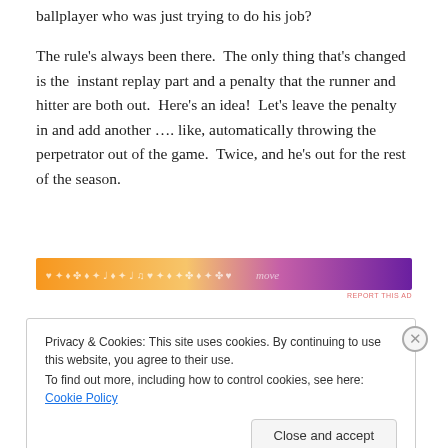ballplayer who was just trying to do his job?
The rule's always been there.  The only thing that's changed is the  instant replay part and a penalty that the runner and hitter are both out.  Here's an idea!  Let's leave the penalty in and add another …. like, automatically throwing the perpetrator out of the game.  Twice, and he's out for the rest of the season.
[Figure (other): Decorative ad banner with orange-to-purple gradient and musical/floral pattern]
Privacy & Cookies: This site uses cookies. By continuing to use this website, you agree to their use.
To find out more, including how to control cookies, see here: Cookie Policy